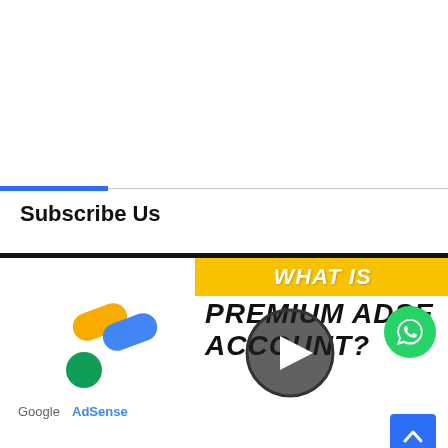Subscribe Us
[Figure (screenshot): Google AdSense logo on the left, and a video thumbnail on the right showing 'WHAT IS PREMIUM ADSENSE ACCOUNT?' with a play button overlay, WhatsApp icon button, and scroll-to-top button]
[Figure (logo): Google AdSense colorful logo with text 'Google AdSense']